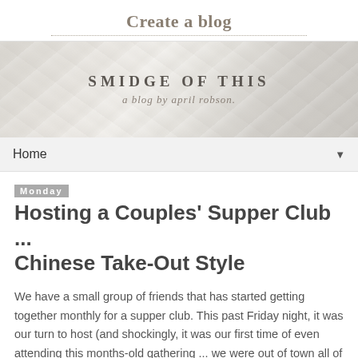Create a blog
[Figure (illustration): Blog banner with marble texture background showing 'SMIDGE OF THIS — a blog by april robson' text]
Home
Monday
Hosting a Couples' Supper Club ... Chinese Take-Out Style
We have a small group of friends that has started getting together monthly for a supper club. This past Friday night, it was our turn to host (and shockingly, it was our first time of even attending this months-old gathering ... we were out of town all of the other weekends when it was held!).